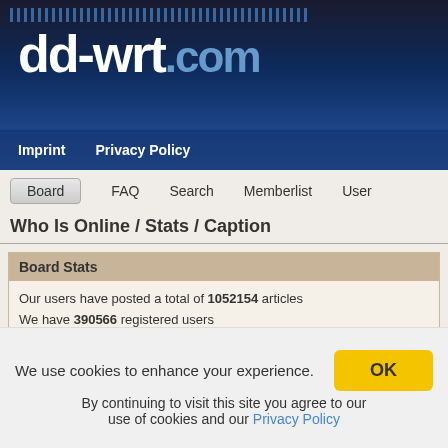[Figure (logo): dd-wrt.com logo with dark blue gradient header background]
Imprint   Privacy Policy
Board   FAQ   Search   Memberlist   User
Who Is Online / Stats / Caption
Board Stats
Our users have posted a total of 1052154 articles
We have 390566 registered users
The newest registered user is loc711
Online Stats
In total there are 230 users online :: 1 Registered, 3 Hidden and 226 Guests   [ Admini
Most users ever online was 4265 on Thu Nov 12, 2020 4:09
Registered Users: the joker
We use cookies to enhance your experience. By continuing to visit this site you agree to our use of cookies and our Privacy Policy